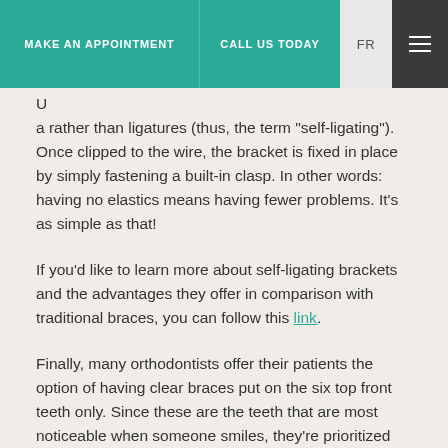MAKE AN APPOINTMENT   CALL US TODAY   FR
U... a... rather than ligatures (thus, the term “self-ligating”). Once clipped to the wire, the bracket is fixed in place by simply fastening a built-in clasp. In other words: having no elastics means having fewer problems. It’s as simple as that!
If you’d like to learn more about self-ligating brackets and the advantages they offer in comparison with traditional braces, you can follow this link.
Finally, many orthodontists offer their patients the option of having clear braces put on the six top front teeth only. Since these are the teeth that are most noticeable when someone smiles, they’re prioritized when a patient wants an appliance that’s barely noticeable, but also wants to minimize the cost of treatment. Nevertheless, the patient also has the option of a dental appliance made up entirely of clear braces.
Ask Orthodontist Dr. Normand Bach, He’ll have the